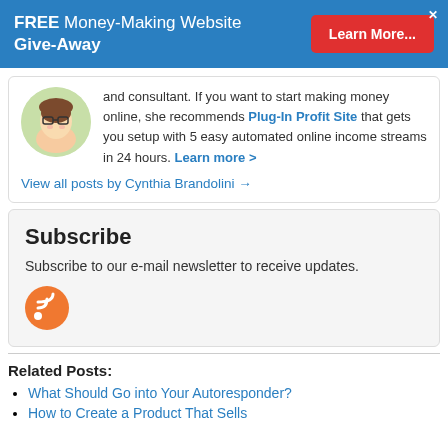[Figure (infographic): Blue promotional banner: FREE Money-Making Website Give-Away with red Learn More button and X close button]
and consultant. If you want to start making money online, she recommends Plug-In Profit Site that gets you setup with 5 easy automated online income streams in 24 hours. Learn more >
View all posts by Cynthia Brandolini →
Subscribe
Subscribe to our e-mail newsletter to receive updates.
[Figure (logo): Orange RSS feed icon/button]
Related Posts:
What Should Go into Your Autoresponder?
How to Create a Product That Sells